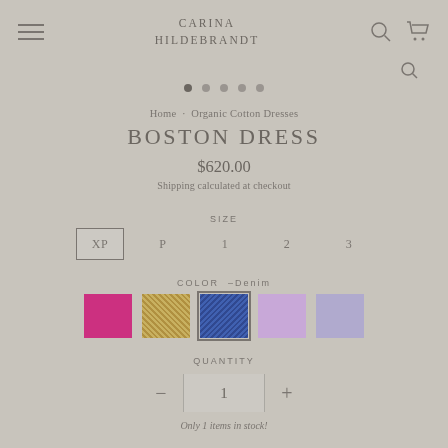CARINA HILDEBRANDT
Home · Organic Cotton Dresses
BOSTON DRESS
$620.00
Shipping calculated at checkout
SIZE
XP  P  1  2  3
COLOR  –Denim
QUANTITY
−  1  +
Only 1 items in stock!